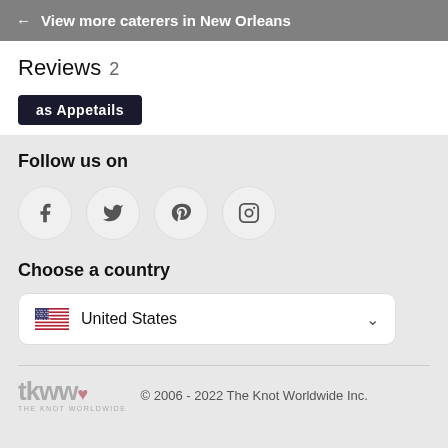← View more caterers in New Orleans
Reviews 2
[Figure (other): Dark button with text 'as Appetails' partially visible]
Follow us on
[Figure (other): Social media icons: Facebook, Twitter, Pinterest, Instagram in circular buttons]
Choose a country
United States
tkww THE KNOT WORLDWIDE © 2006 - 2022 The Knot Worldwide Inc.